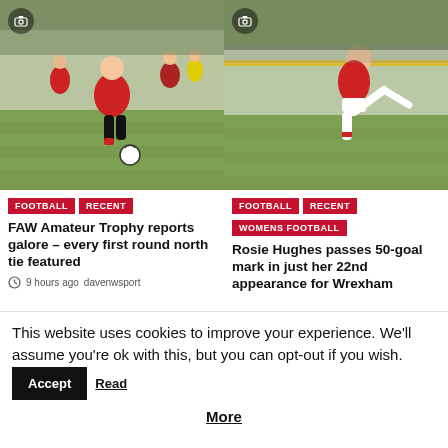[Figure (photo): Football player in red kit dribbling a ball on a grass pitch with other players in background]
[Figure (photo): Female football player in red and white kit kicking a ball on a grass pitch]
FOOTBALL RECENT — FAW Amateur Trophy reports galore – every first round north tie featured — 9 hours ago davenwsport
FOOTBALL RECENT WOMENS FOOTBALL — Rosie Hughes passes 50-goal mark in just her 22nd appearance for Wrexham
This website uses cookies to improve your experience. We'll assume you're ok with this, but you can opt-out if you wish. Accept Read More